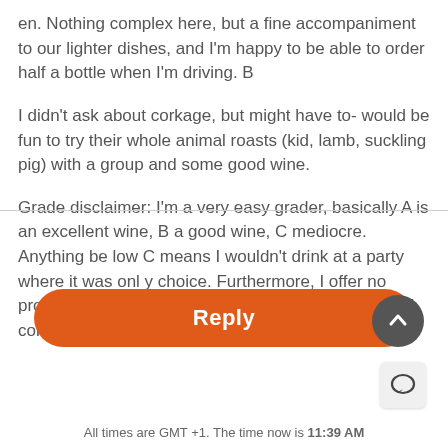en. Nothing complex here, but a fine accompaniment to our lighter dishes, and I'm happy to be able to order half a bottle when I'm driving. B
I didn't ask about corkage, but might have to- would be fun to try their whole animal roasts (kid, lamb, suckling pig) with a group and some good wine.
Grade disclaimer: I'm a very easy grader, basically A is an excellent wine, B a good wine, C mediocre. Anything below C means I wouldn't drink at a party where it was only choice. Furthermore, I offer no promises of objectivity, accuracy, and certainly not of consistency.
[Figure (other): Comment/reply icon button (speech bubble)]
[Figure (other): Orange Reply button with up-arrow scroll button]
All times are GMT +1. The time now is 11:39 AM